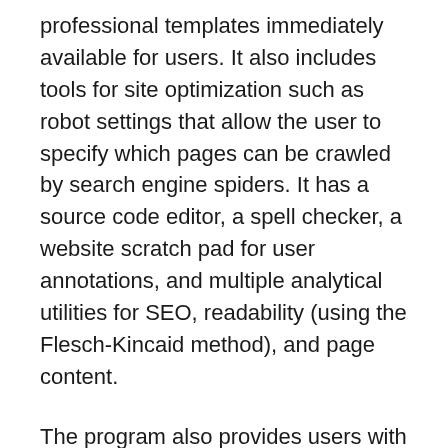professional templates immediately available for users. It also includes tools for site optimization such as robot settings that allow the user to specify which pages can be crawled by search engine spiders. It has a source code editor, a spell checker, a website scratch pad for user annotations, and multiple analytical utilities for SEO, readability (using the Flesch-Kincaid method), and page content.
The program also provides users with the tools they need to include business-focused integrations into their sites, including payment processor integration, affiliate link inclusion, Google AdSense monetization, Amazon link displays, and more. Essentially, users can use XSitePro2 to build a website practically from